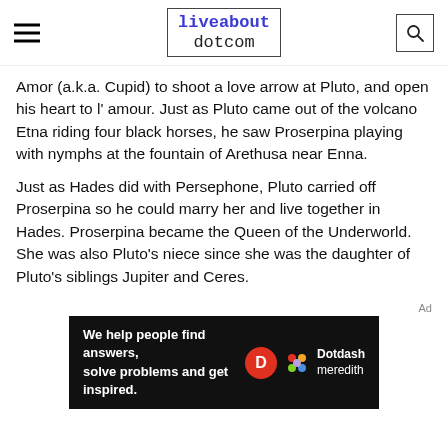liveabout dotcom
Amor (a.k.a. Cupid) to shoot a love arrow at Pluto, and open his heart to l' amour. Just as Pluto came out of the volcano Etna riding four black horses, he saw Proserpina playing with nymphs at the fountain of Arethusa near Enna.
Just as Hades did with Persephone, Pluto carried off Proserpina so he could marry her and live together in Hades. Proserpina became the Queen of the Underworld. She was also Pluto's niece since she was the daughter of Pluto's siblings Jupiter and Ceres.
[Figure (other): Dotdash Meredith advertisement banner: 'We help people find answers, solve problems and get inspired.' with Dotdash and Meredith logos.]